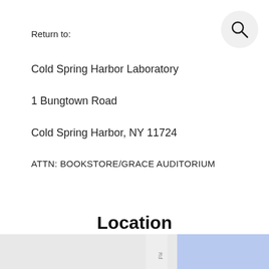Return to:
[Figure (other): Search icon button — circular grey background with magnifying glass icon]
Cold Spring Harbor Laboratory
1 Bungtown Road
Cold Spring Harbor, NY 11724
ATTN: BOOKSTORE/GRACE AUDITORIUM
Location
[Figure (map): Partial map showing road and blue highlighted area at the bottom of the page]